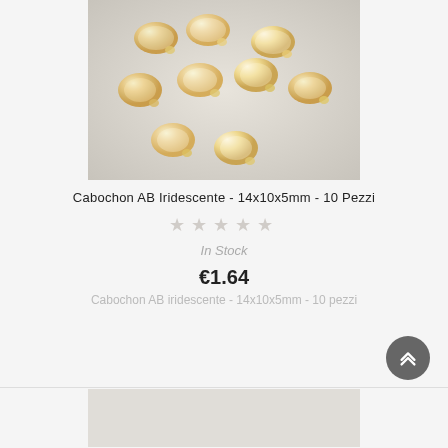[Figure (photo): Photo of iridescent AB cabochon beads, oval/teardrop shaped, yellowish with pearlescent sheen, scattered on a light grey surface. About 10 pieces visible.]
Cabochon AB Iridescente - 14x10x5mm - 10 Pezzi
[Figure (other): Five empty star rating icons in light grey]
In Stock
€1.64
Cabochon AB iridescente - 14x10x5mm - 10 pezzi
[Figure (photo): Partial image of another product card at the bottom of the page, showing a light-colored flat surface or product photo.]